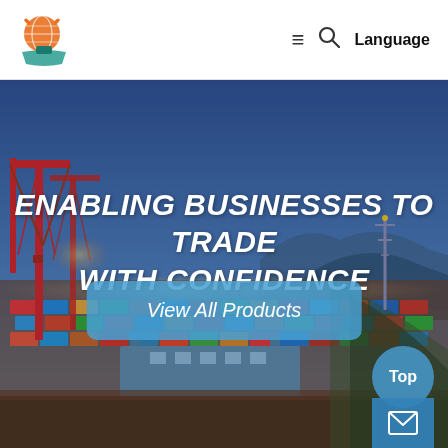Logo | ≡ 🔍 Language
[Figure (photo): Aerial view of a busy container port at dusk/twilight with red cranes, shipping containers, warehouses, and hillside in background. Blue-purple sky with warm orange port lighting.]
ENABLING BUSINESSES TO TRADE WITH CONFIDENCE
View All Products
Top
[Figure (other): Mail/envelope icon button at bottom right]